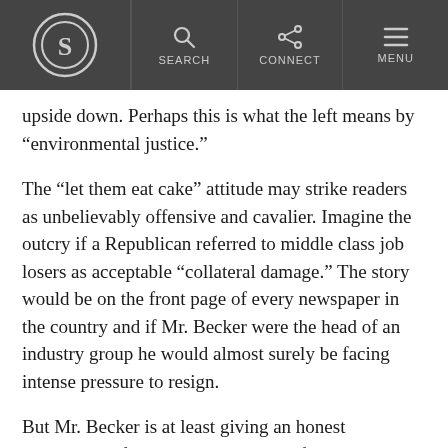S [logo] | SEARCH | CONNECT | MENU
upside down. Perhaps this is what the left means by “environmental justice.”
The “let them eat cake” attitude may strike readers as unbelievably offensive and cavalier. Imagine the outcry if a Republican referred to middle class job losers as acceptable “collateral damage.” The story would be on the front page of every newspaper in the country and if Mr. Becker were the head of an industry group he would almost surely be facing intense pressure to resign.
But Mr. Becker is at least giving an honest assessment of the negative impact of the radical anti-carbon lobby’s crusade on middle class families.